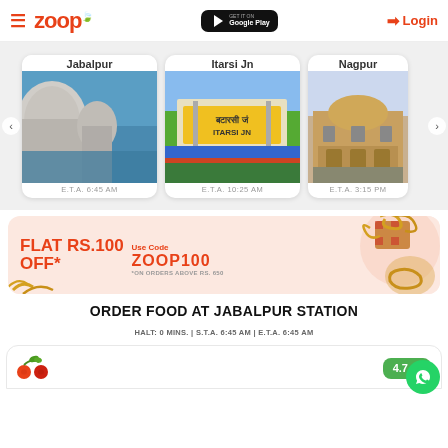Zoop — Login
[Figure (screenshot): Station carousel showing Jabalpur (ETA 6:45 AM), Itarsi Jn (ETA 10:25 AM), Nagpur (ETA 3:15 PM) with station photos]
[Figure (infographic): Promotional banner: FLAT RS.100 OFF* Use Code ZOOP100 *ON ORDERS ABOVE RS. 650]
ORDER FOOD AT JABALPUR STATION
HALT: 0 MINS. | S.T.A. 6:45 AM | E.T.A. 6:45 AM
[Figure (logo): Restaurant logo with cherry icons and 4.7 star rating badge]